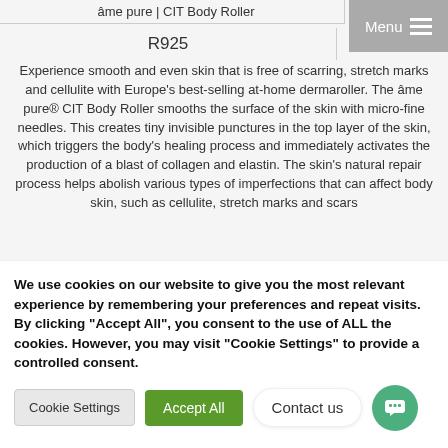âme pure | CIT Body Roller
R925
Experience smooth and even skin that is free of scarring, stretch marks and cellulite with Europe's best-selling at-home dermaroller. The âme pure® CIT Body Roller smooths the surface of the skin with micro-fine needles. This creates tiny invisible punctures in the top layer of the skin, which triggers the body's healing process and immediately activates the production of a blast of collagen and elastin. The skin's natural repair process helps abolish various types of imperfections that can affect body skin, such as cellulite, stretch marks and scars
We use cookies on our website to give you the most relevant experience by remembering your preferences and repeat visits. By clicking "Accept All", you consent to the use of ALL the cookies. However, you may visit "Cookie Settings" to provide a controlled consent.
Cookie Settings
Accept All
Contact us